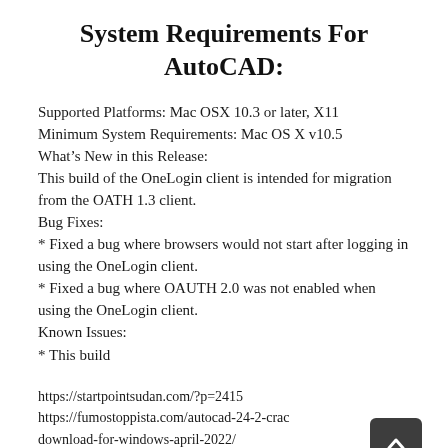System Requirements For AutoCAD:
Supported Platforms: Mac OSX 10.3 or later, X11
Minimum System Requirements: Mac OS X v10.5
What’s New in this Release:
This build of the OneLogin client is intended for migration from the OATH 1.3 client.
Bug Fixes:
* Fixed a bug where browsers would not start after logging in using the OneLogin client.
* Fixed a bug where OAUTH 2.0 was not enabled when using the OneLogin client.
Known Issues:
* This build
https://startpointsudan.com/?p=2415
https://fumostoppista.com/autocad-24-2-crack-download-for-windows-april-2022/
https://xn--doabertha-m6a.com/autocad-22-0-crack-with-